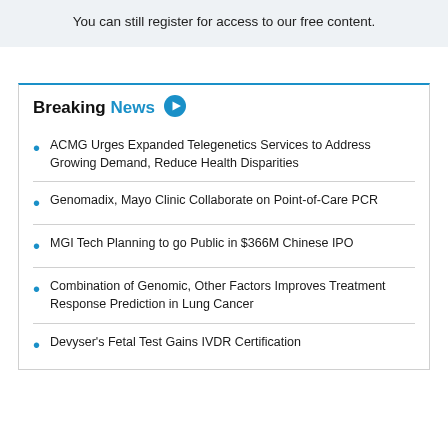You can still register for access to our free content.
Breaking News
ACMG Urges Expanded Telegenetics Services to Address Growing Demand, Reduce Health Disparities
Genomadix, Mayo Clinic Collaborate on Point-of-Care PCR
MGI Tech Planning to go Public in $366M Chinese IPO
Combination of Genomic, Other Factors Improves Treatment Response Prediction in Lung Cancer
Devyser's Fetal Test Gains IVDR Certification